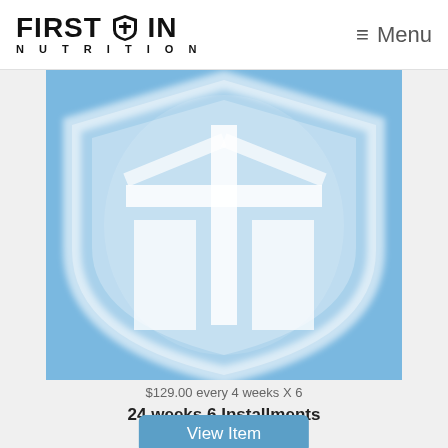FIRST IN NUTRITION  ≡ Menu
[Figure (logo): First In Nutrition shield logo — large light blue background with white shield/warrior helmet logo centered]
$129.00 every 4 weeks X 6
24 weeks 6 Installments
View Item